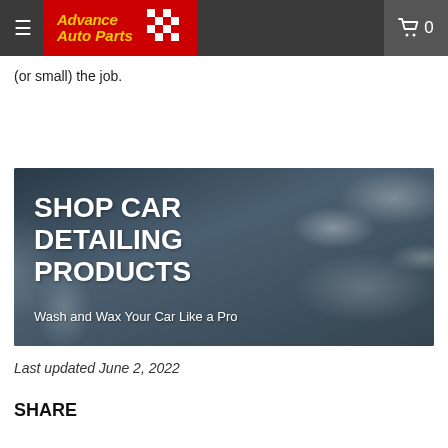Advance Auto Parts navigation bar with logo and cart
(or small) the job.
[Figure (photo): Banner image showing car wash foam/bubbles on a dark surface with overlay text: 'SHOP CAR DETAILING PRODUCTS' and subtitle 'Wash and Wax Your Car Like a Pro']
Last updated June 2, 2022
SHARE